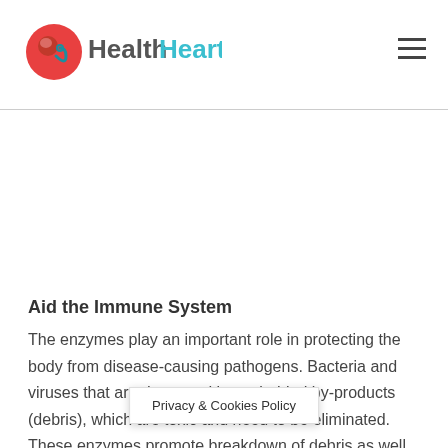HealthHearty
Aid the Immune System
The enzymes play an important role in protecting the body from disease-causing pathogens. Bacteria and viruses that are destroyed leave behind by-products (debris), which are toxic and need to be eliminated. These enzymes promote breakdown of debris as well as facilitate their removal. Thus, adequate release of proteolytic to eliminate this
Privacy & Cookies Policy